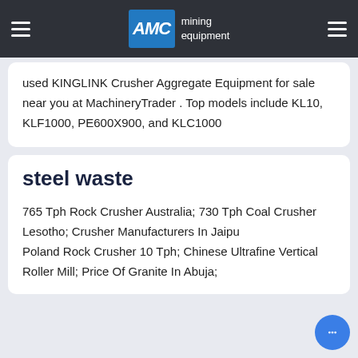AMC mining equipment
used KINGLINK Crusher Aggregate Equipment for sale near you at MachineryTrader . Top models include KL10, KLF1000, PE600X900, and KLC1000
steel waste
765 Tph Rock Crusher Australia; 730 Tph Coal Crusher Lesotho; Crusher Manufacturers In Jaipur; Poland Rock Crusher 10 Tph; Chinese Ultrafine Vertical Roller Mill; Price Of Granite In Abuja;